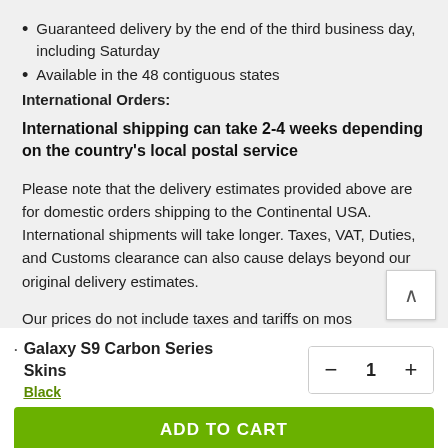Guaranteed delivery by the end of the third business day, including Saturday
Available in the 48 contiguous states
International Orders:
International shipping can take 2-4 weeks depending on the country's local postal service
Please note that the delivery estimates provided above are for domestic orders shipping to the Continental USA. International shipments will take longer. Taxes, VAT, Duties, and Customs clearance can also cause delays beyond our original delivery estimates.
Our prices do not include taxes and tariffs on mos states
Galaxy S9 Carbon Series Skins
Black
ADD TO CART